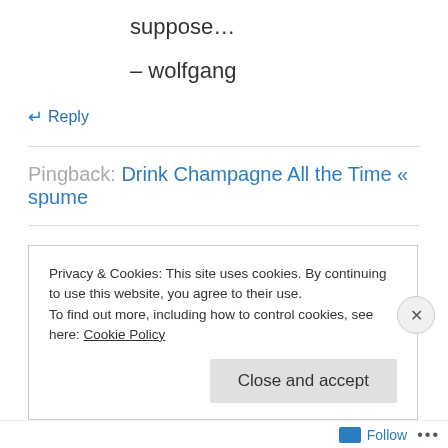suppose…
– wolfgang
↵ Reply
Pingback: Drink Champagne All the Time « spume
Pingback: New Year's Eve means it's time to sparkle! « D'Amore Distribution
Privacy & Cookies: This site uses cookies. By continuing to use this website, you agree to their use. To find out more, including how to control cookies, see here: Cookie Policy
Close and accept
Follow …